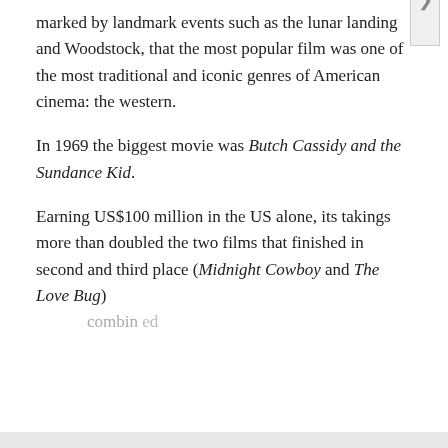marked by landmark events such as the lunar landing and Woodstock, that the most popular film was one of the most traditional and iconic genres of American cinema: the western.
In 1969 the biggest movie was Butch Cassidy and the Sundance Kid.
Earning US$100 million in the US alone, its takings more than doubled the two films that finished in second and third place (Midnight Cowboy and The Love Bug) combined
Privacy & Cookies: This site uses cookies. By continuing to use this website, you agree to their use.
To find out more, including how to control cookies, see here: Cookie Policy
Close and accept